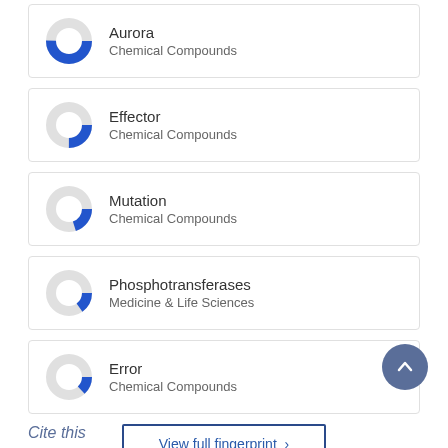[Figure (donut-chart): Aurora]
Aurora
Chemical Compounds
[Figure (donut-chart): Effector]
Effector
Chemical Compounds
[Figure (donut-chart): Mutation]
Mutation
Chemical Compounds
[Figure (donut-chart): Phosphotransferases]
Phosphotransferases
Medicine & Life Sciences
[Figure (donut-chart): Error]
Error
Chemical Compounds
View full fingerprint >
Cite this